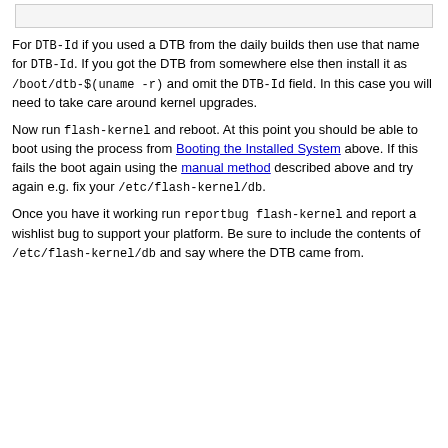[Figure (other): Top decorative box/frame element at top of page]
For DTB-Id if you used a DTB from the daily builds then use that name for DTB-Id. If you got the DTB from somewhere else then install it as /boot/dtb-$(uname -r) and omit the DTB-Id field. In this case you will need to take care around kernel upgrades.
Now run flash-kernel and reboot. At this point you should be able to boot using the process from Booting the Installed System above. If this fails the boot again using the manual method described above and try again e.g. fix your /etc/flash-kernel/db.
Once you have it working run reportbug flash-kernel and report a wishlist bug to support your platform. Be sure to include the contents of /etc/flash-kernel/db and say where the DTB came from.